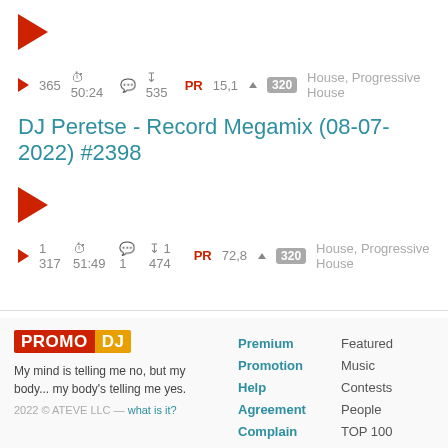[Figure (other): Red play button triangle icon]
▶ 365  ⏱ 50:24  💬  ⬇ 535  PR 15,1 ▲  320  House, Progressive House
DJ Peretse - Record Megamix (08-07-2022) #2398
[Figure (other): Red play button triangle icon]
▶ 1 317  ⏱ 51:49  💬 1  ⬇ 1 474  PR 72,8 ▲  320  House, Progressive House
[Figure (logo): PromoDJ logo with red PROMO and orange DJ]
My mind is telling me no, but my body... my body's telling me yes.
2022 © ATEVE LLC — what is it?
Premium  Featured
Promotion  Music
Help  Contests
Agreement  People
Complain  TOP 100